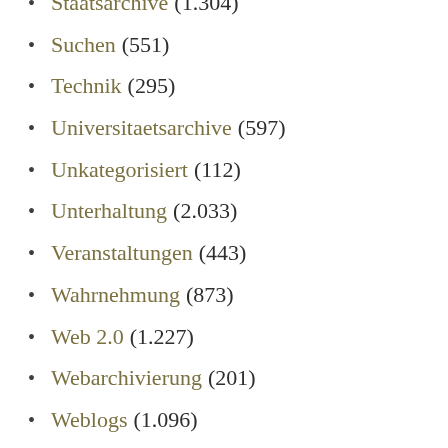Staatsarchive (1.304)
Suchen (551)
Technik (295)
Universitaetsarchive (597)
Unkategorisiert (112)
Unterhaltung (2.033)
Veranstaltungen (443)
Wahrnehmung (873)
Web 2.0 (1.227)
Webarchivierung (201)
Weblogs (1.096)
Wikis (860)
Wirtschaftsarchive (216)
Wissenschaftsbetrieb (1.181)